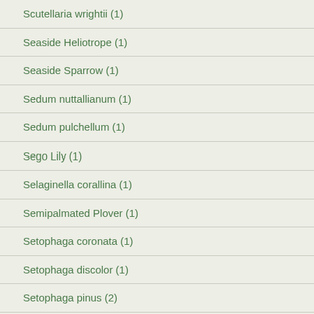Scutellaria wrightii (1)
Seaside Heliotrope (1)
Seaside Sparrow (1)
Sedum nuttallianum (1)
Sedum pulchellum (1)
Sego Lily (1)
Selaginella corallina (1)
Semipalmated Plover (1)
Setophaga coronata (1)
Setophaga discolor (1)
Setophaga pinus (2)
Shorebirds (1)
Short-billed Dowitcher (1)
Showy Milkweed (1)
Shrubby Blue Sage (1)